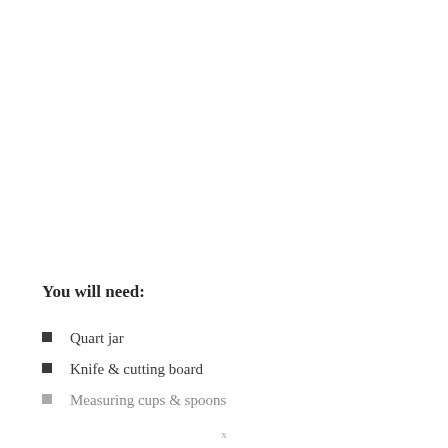You will need:
Quart jar
Knife & cutting board
Measuring cups & spoons
x